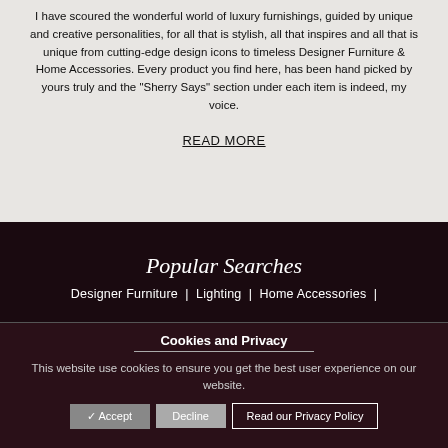I have scoured the wonderful world of luxury furnishings, guided by unique and creative personalities, for all that is stylish, all that inspires and all that is unique from cutting-edge design icons to timeless Designer Furniture & Home Accessories. Every product you find here, has been hand picked by yours truly and the "Sherry Says" section under each item is indeed, my voice.
READ MORE
Popular Searches
Designer Furniture |  Lighting |  Home Accessories |
Cookies and Privacy
This website use cookies to ensure you get the best user experience on our website.
✓ Accept   Decline   Read our Privacy Policy